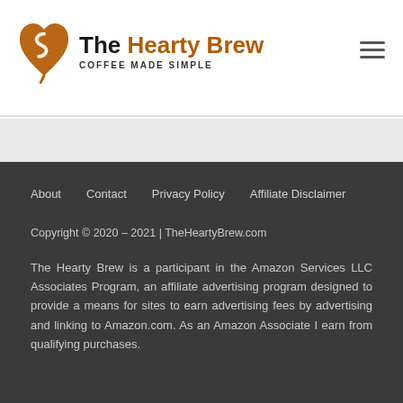[Figure (logo): The Hearty Brew logo with heart/coffee bean icon and text 'The Hearty Brew – COFFEE MADE SIMPLE']
The Hearty Brew — COFFEE MADE SIMPLE
About   Contact   Privacy Policy   Affiliate Disclaimer
Copyright © 2020 – 2021 | TheHeartyBrew.com
The Hearty Brew is a participant in the Amazon Services LLC Associates Program, an affiliate advertising program designed to provide a means for sites to earn advertising fees by advertising and linking to Amazon.com. As an Amazon Associate I earn from qualifying purchases.